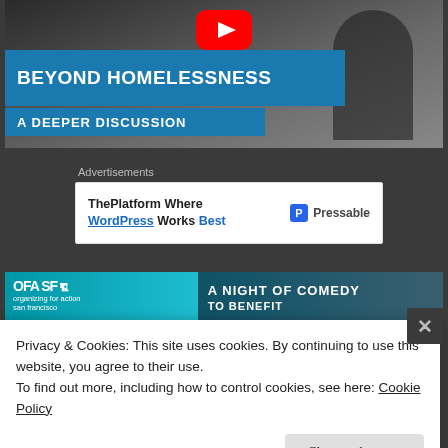[Figure (screenshot): YouTube video thumbnail for 'Beyond Homelessness: A Deeper Discussion' showing a YouTube play button, blue title bars with white bold text, and a dark background image of a person sitting.]
Advertisements
[Figure (screenshot): Advertisement banner: 'ThePlatform Where WordPress Works Best' with Pressable logo on the right.]
[Figure (screenshot): OFA SF banner showing 'OFA SF organizing for action san francisco' on the left and 'A NIGHT OF COMEDY TO BENEFIT' on the right.]
Privacy & Cookies: This site uses cookies. By continuing to use this website, you agree to their use.
To find out more, including how to control cookies, see here: Cookie Policy
Close and accept